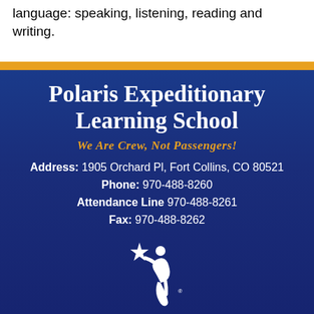language: speaking, listening, reading and writing.
Polaris Expeditionary Learning School
We Are Crew, Not Passengers!
Address: 1905 Orchard Pl, Fort Collins, CO 80521
Phone: 970-488-8260
Attendance Line 970-488-8261
Fax: 970-488-8262
[Figure (logo): Poudre School District logo - white stylized figure with star and leaf/P shape, with 'POUDRE SCHOOL DISTRICT' text below]
District Homepage | Disclaimer